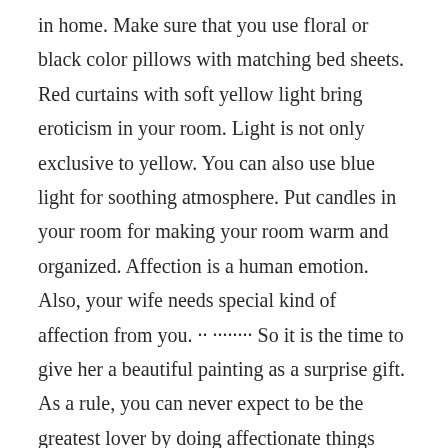in home. Make sure that you use floral or black color pillows with matching bed sheets. Red curtains with soft yellow light bring eroticism in your room. Light is not only exclusive to yellow. You can also use blue light for soothing atmosphere. Put candles in your room for making your room warm and organized. Affection is a human emotion. Also, your wife needs special kind of affection from you. ·· ········ So it is the time to give her a beautiful painting as a surprise gift. As a rule, you can never expect to be the greatest lover by doing affectionate things only once. In addition, your affectionate contributions will break the boredom barriers of your relationship and make her see you as her hero. If you can not afford luxurious goods then let your partner get cherished with your artistic surroundings. Men who have artistic homes always